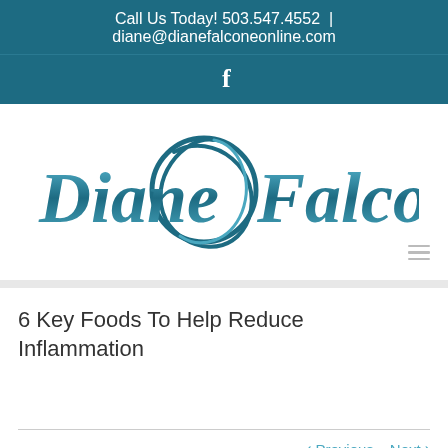Call Us Today! 503.547.4552 | diane@dianefalconeonline.com
[Figure (logo): Facebook icon in teal header bar]
[Figure (logo): Diane Falcone logo with teal script text and circular swoosh graphic]
6 Key Foods To Help Reduce Inflammation
< Previous   Next >